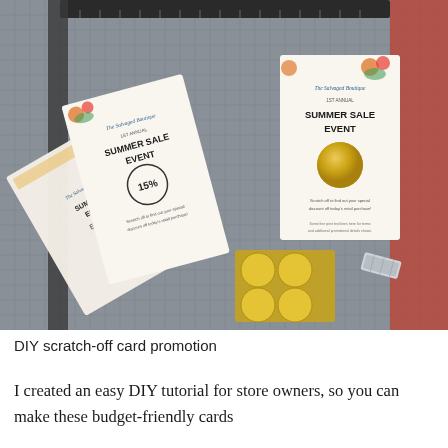[Figure (photo): A photo of DIY scratch-off cards laid out on a gray cutting mat. Several cards for 'The Salvaged Boutique 1st Annual Summer Sale Event' are shown — one reveals '15%' discount, another has a gold scratch-off circle still intact. Gold scratch-off sticker circles and a razor blade are also visible on the mat.]
DIY scratch-off card promotion
I created an easy DIY tutorial for store owners, so you can make these budget-friendly cards